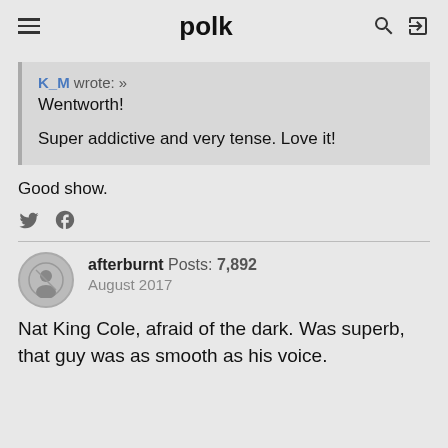polk
K_M wrote: »
Wentworth!

Super addictive and very tense. Love it!
Good show.
afterburnt  Posts: 7,892  August 2017
Nat King Cole, afraid of the dark. Was superb, that guy was as smooth as his voice.